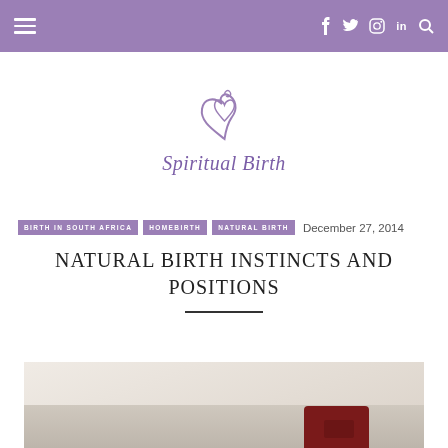Navigation bar with hamburger menu and social icons: f, Twitter, Instagram, in, Search
[Figure (logo): Spiritual Birth logo with stylized heart/swirl icon above italic text 'Spiritual Birth' in purple]
BIRTH IN SOUTH AFRICA
HOMEBIRTH
NATURAL BIRTH
December 27, 2014
NATURAL BIRTH INSTINCTS AND POSITIONS
[Figure (photo): Partial photo of a person on white fabric/sheets with a dark red/maroon item visible at bottom right corner]